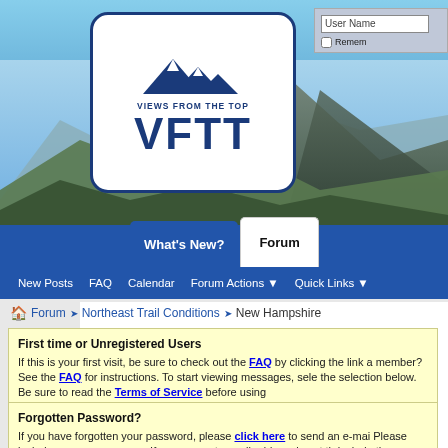[Figure (screenshot): VFTT (Views From The Top) forum website header with mountain landscape background, logo, navigation tabs (What's New?, Forum), sub-navigation (New Posts, FAQ, Calendar, Forum Actions, Quick Links), and login box in top right]
User Name  Remember
Forum › Northeast Trail Conditions › New Hampshire
First time or Unregistered Users
If this is your first visit, be sure to check out the FAQ by clicking the link a member? See the FAQ for instructions. To start viewing messages, sele the selection below. Be sure to read the Terms of Service before using
Forgotten Password?
If you have forgotten your password, please click here to send an e-mai Please include your screen name. If your current e-mail address is not th include the registered one in the body of your password request. You mu information - e-mail address or birthday - in addition to the username - fo
Hiking and Safety Tips for New Hikers
Views From The Top recommends that all hikers read and familiarize the before venturing into the back country. Remember that in NH, Fish and G